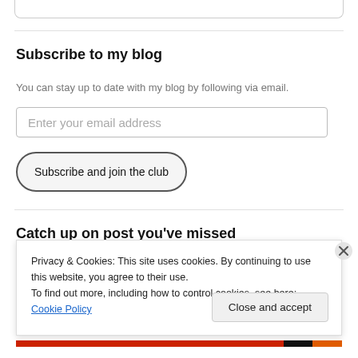Subscribe to my blog
You can stay up to date with my blog by following via email.
Enter your email address
Subscribe and join the club
Catch up on post you've missed
Privacy & Cookies: This site uses cookies. By continuing to use this website, you agree to their use.
To find out more, including how to control cookies, see here: Cookie Policy
Close and accept